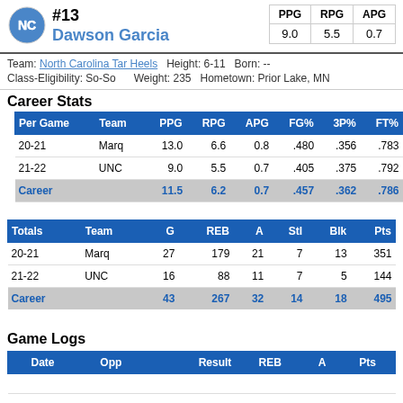[Figure (logo): UNC Tar Heels logo - interlocking NC letters in Carolina blue]
#13 Dawson Garcia
| PPG | RPG | APG |
| --- | --- | --- |
| 9.0 | 5.5 | 0.7 |
Team: North Carolina Tar Heels   Height: 6-11   Born: --
Class-Eligibility: So-So   Weight: 235   Hometown: Prior Lake, MN
Career Stats
| Per Game | Team | PPG | RPG | APG | FG% | 3P% | FT% |
| --- | --- | --- | --- | --- | --- | --- | --- |
| 20-21 | Marq | 13.0 | 6.6 | 0.8 | .480 | .356 | .783 |
| 21-22 | UNC | 9.0 | 5.5 | 0.7 | .405 | .375 | .792 |
| Career |  | 11.5 | 6.2 | 0.7 | .457 | .362 | .786 |
| Totals | Team | G | REB | A | Stl | Blk | Pts |
| --- | --- | --- | --- | --- | --- | --- | --- |
| 20-21 | Marq | 27 | 179 | 21 | 7 | 13 | 351 |
| 21-22 | UNC | 16 | 88 | 11 | 7 | 5 | 144 |
| Career |  | 43 | 267 | 32 | 14 | 18 | 495 |
Game Logs
| Date | Opp | Result | REB | A | Pts |
| --- | --- | --- | --- | --- | --- |